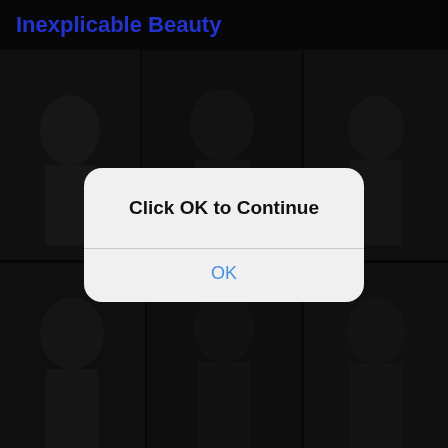Inexplicable Beauty
[Figure (screenshot): Dark background screenshot of a website or app with a collage of people images, overlaid with an iOS-style dialog box]
Click OK to Continue
OK